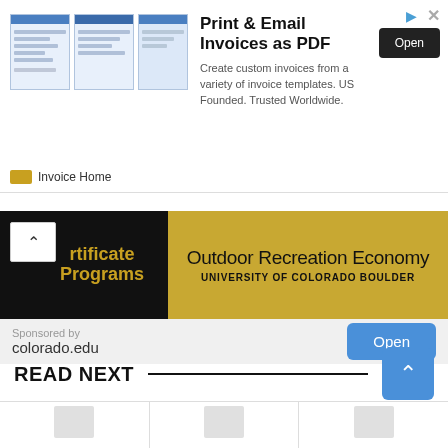[Figure (screenshot): Advertisement banner for Invoice Home app: 'Print & Email Invoices as PDF'. Shows invoice template previews on the left, description text, and an Open button.]
[Figure (screenshot): Advertisement banner for University of Colorado Boulder 'Outdoor Recreation Economy' certificate programs. Gold and black design with Open button. Sponsored by colorado.edu.]
READ NEXT
[Figure (screenshot): Partial view of article thumbnails below READ NEXT section header.]